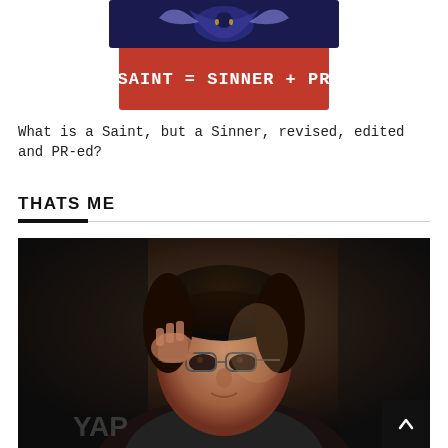[Figure (illustration): Book cover image showing SAINT = SINNER + PR text on a red banner, with a dark blue/navy top portion showing a stylized figure or butterfly.]
What is a Saint, but a Sinner, revised, edited and PR-ed?
THATS ME
[Figure (photo): Black and white photograph of a man with glasses, holding his hand to his head in a thoughtful or stressed pose, photographed in low light.]